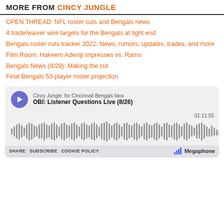MORE FROM CINCY JUNGLE
OPEN THREAD: NFL roster cuts and Bengals news
4 trade/waiver wire targets for the Bengals at tight end
Bengals roster cuts tracker 2022: News, rumors, updates, trades, and more
Film Room: Hakeem Adeniji impresses vs. Rams
Bengals News (8/29): Making the cut
Final Bengals 53-player roster projection
[Figure (other): Podcast player widget for 'OBI: Listener Questions Live (8/26)' from Cincy Jungle: for Cincinnati Bengals fans. Shows play button, waveform audio visualization, timestamp 01:11:55, and share/subscribe/cookie policy links with Megaphone branding.]